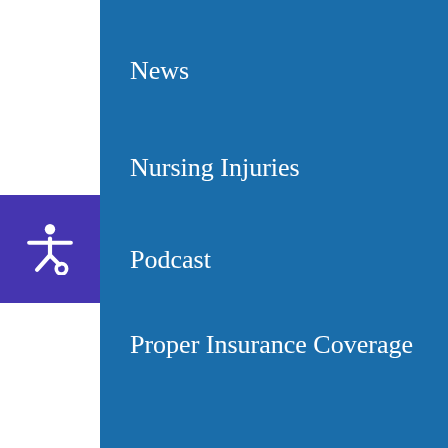News
Nursing Injuries
Podcast
Proper Insurance Coverage
Safety
Social Media
Sports Injuries
Uncategorized